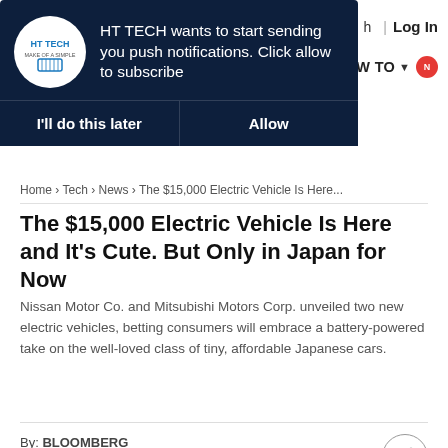[Figure (screenshot): HT TECH push notification overlay with logo, message 'HT TECH wants to start sending you push notifications. Click allow to subscribe', and two buttons: 'I'll do this later' and 'Allow']
h | Log In | HOW TO
Home > Tech > News > The $15,000 Electric Vehicle Is Here...
The $15,000 Electric Vehicle Is Here and It's Cute. But Only in Japan for Now
Nissan Motor Co. and Mitsubishi Motors Corp. unveiled two new electric vehicles, betting consumers will embrace a battery-powered take on the well-loved class of tiny, affordable Japanese cars.
By: BLOOMBERG
Updated on: May 22 2022, 22:41 IST